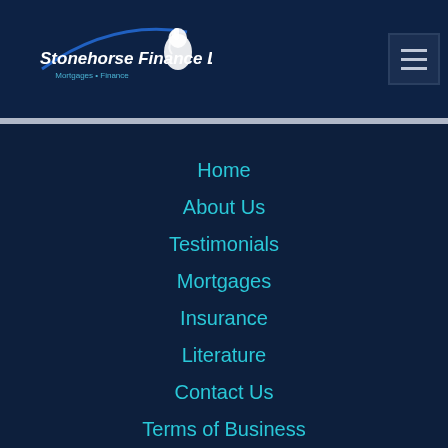[Figure (logo): Stonehorse Finance Ltd logo with horse head graphic and blue arc, subtitle 'Mortgages • Finance']
Home
About Us
Testimonials
Mortgages
Insurance
Literature
Contact Us
Terms of Business